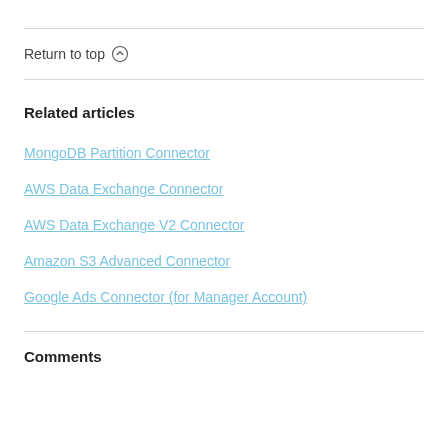Return to top ↑
Related articles
MongoDB Partition Connector
AWS Data Exchange Connector
AWS Data Exchange V2 Connector
Amazon S3 Advanced Connector
Google Ads Connector (for Manager Account)
Comments